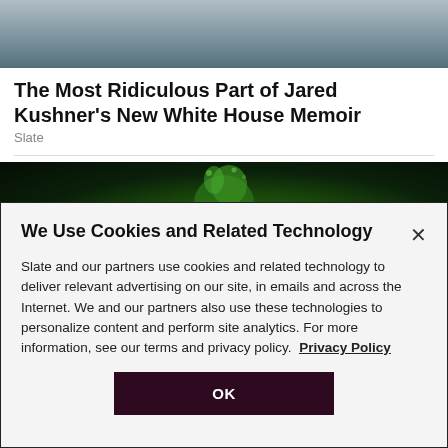[Figure (photo): Top portion of a photo showing a boy in dark clothing]
The Most Ridiculous Part of Jared Kushner's New White House Memoir
Slate
[Figure (photo): Dark image with a green splashing object against a black background]
We Use Cookies and Related Technology
Slate and our partners use cookies and related technology to deliver relevant advertising on our site, in emails and across the Internet. We and our partners also use these technologies to personalize content and perform site analytics. For more information, see our terms and privacy policy. Privacy Policy
OK